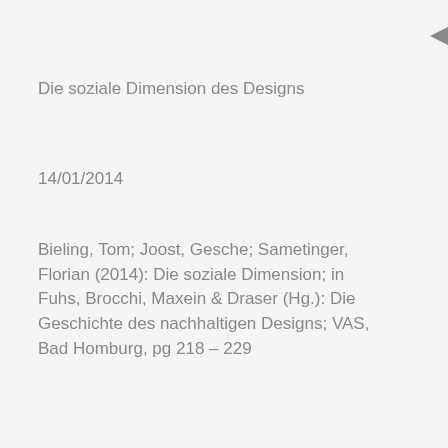[Figure (other): Dark grey filled triangle pointing left, positioned in top-right corner as a decorative element]
Die soziale Dimension des Designs
14/01/2014
Bieling, Tom; Joost, Gesche; Sametinger, Florian (2014): Die soziale Dimension; in Fuhs, Brocchi, Maxein & Draser (Hg.): Die Geschichte des nachhaltigen Designs; VAS, Bad Homburg, pg 218 – 229